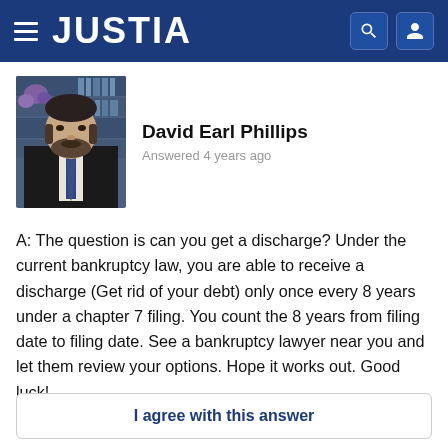JUSTIA
[Figure (photo): Headshot of David Earl Phillips, a man in a suit with a beard, standing in front of bookshelves]
David Earl Phillips
Answered 4 years ago
A: The question is can you get a discharge? Under the current bankruptcy law, you are able to receive a discharge (Get rid of your debt) only once every 8 years under a chapter 7 filing. You count the 8 years from filing date to filing date. See a bankruptcy lawyer near you and let them review your options. Hope it works out. Good luck!
I agree with this answer